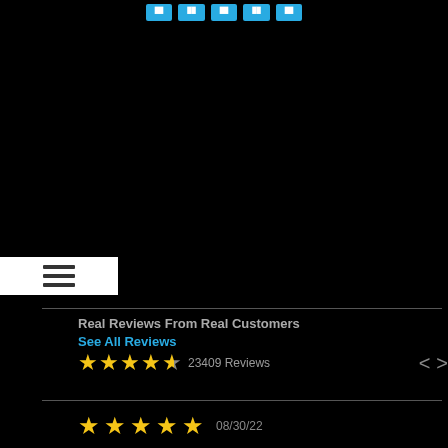[Figure (screenshot): Top navigation bar with 5 cyan/blue buttons on black background]
[Figure (screenshot): Hamburger menu icon (three horizontal lines) on white background, overlaid on black page area]
Real Reviews From Real Customers
See All Reviews
23409 Reviews
[Figure (infographic): 4.5 star rating out of 5 shown with yellow stars, with navigation arrows]
[Figure (infographic): 5 star rating for a review dated 08/30/22]